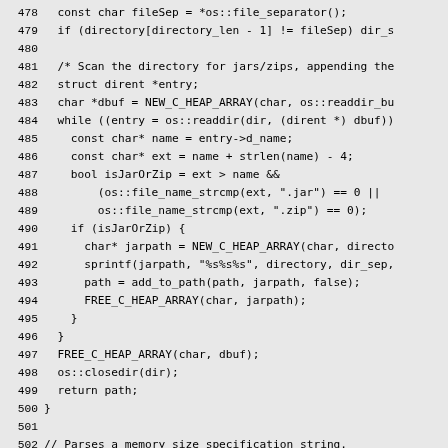[Figure (screenshot): Source code listing (C++) with line numbers 478-507, showing directory scanning logic and atomull function stub. Background is light gray, monospace font.]